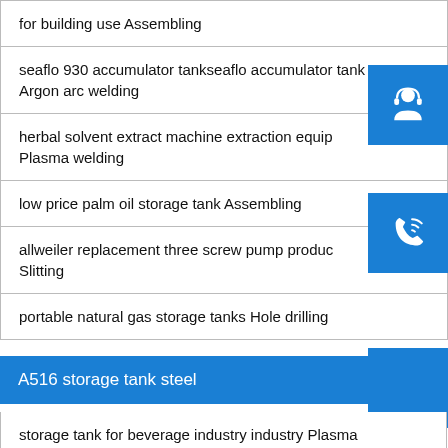for building use Assembling
seaflo 930 accumulator tankseaflo accumulator tank Argon arc welding
herbal solvent extract machine extraction equip... Plasma welding
low price palm oil storage tank Assembling
allweiler replacement three screw pump produc... Slitting
portable natural gas storage tanks Hole drilling
A516 storage tank steel
storage tank for beverage industry industry Plasma